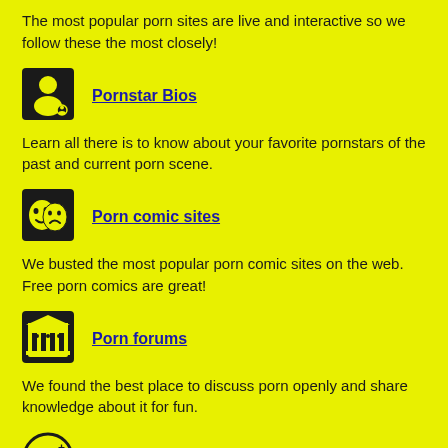The most popular porn sites are live and interactive so we follow these the most closely!
Pornstar Bios
Learn all there is to know about your favorite pornstars of the past and current porn scene.
Porn comic sites
We busted the most popular porn comic sites on the web. Free porn comics are great!
Porn forums
We found the best place to discuss porn openly and share knowledge about it for fun.
Extreme porn
Fan of hardcore sex? Well, we found the top extreme porn sites